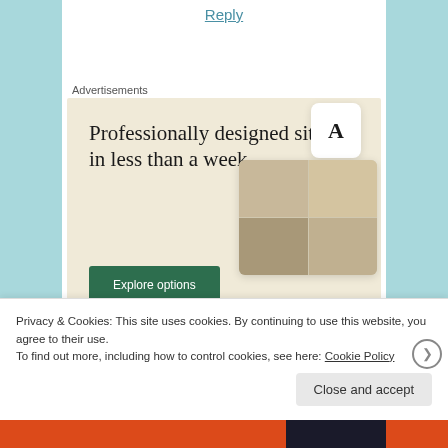Reply
Advertisements
[Figure (illustration): Web design service advertisement with beige background. Large serif text reads 'Professionally designed sites in less than a week'. Green 'Explore options' button. Mock website screenshots showing food photography and an 'A' logo card on the right side.]
Privacy & Cookies: This site uses cookies. By continuing to use this website, you agree to their use.
To find out more, including how to control cookies, see here: Cookie Policy
Close and accept